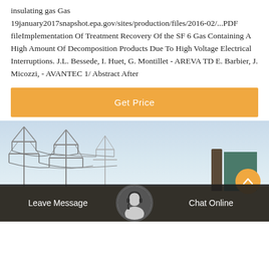insulating gas Gas 19january2017snapshot.epa.gov/sites/production/files/2016-02/...PDF fileImplementation Of Treatment Recovery Of the SF 6 Gas Containing A High Amount Of Decomposition Products Due To High Voltage Electrical Interruptions. J.L. Bessede, I. Huet, G. Montillet - AREVA TD E. Barbier, J. Micozzi, - AVANTEC 1/ Abstract After
[Figure (other): Button labeled 'Get Price' with orange background]
[Figure (photo): Outdoor industrial/electrical substation scene with power line towers, bare trees, and a building on the right, under a light blue sky]
Leave Message
Chat Online